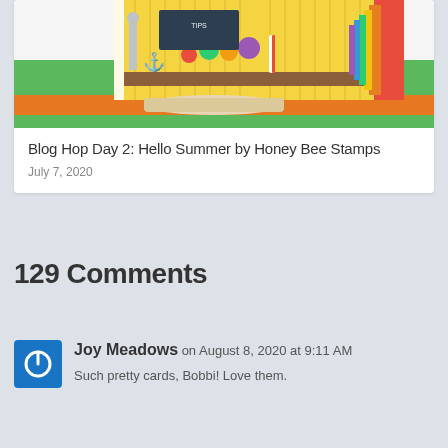[Figure (photo): Colorful craft card image showing a summer-themed scene with yellow stripes, candy/treats, rainbow colors, and an anchor decoration]
Blog Hop Day 2: Hello Summer by Honey Bee Stamps
July 7, 2020
129 Comments
[Figure (logo): Blue square avatar with a white power button icon for user Joy Meadows]
Joy Meadows on August 8, 2020 at 9:11 AM
Such pretty cards, Bobbi! Love them.